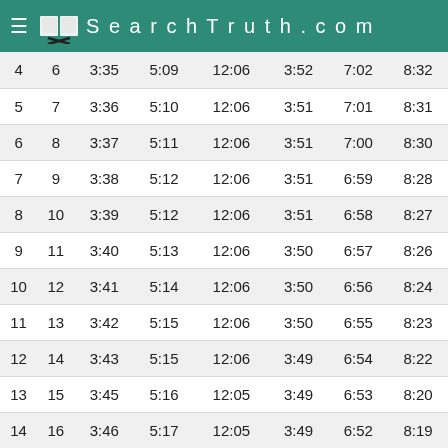SearchTruth.com
| 4 | 6 | 3:35 | 5:09 | 12:06 | 3:52 | 7:02 | 8:32 |
| 5 | 7 | 3:36 | 5:10 | 12:06 | 3:51 | 7:01 | 8:31 |
| 6 | 8 | 3:37 | 5:11 | 12:06 | 3:51 | 7:00 | 8:30 |
| 7 | 9 | 3:38 | 5:12 | 12:06 | 3:51 | 6:59 | 8:28 |
| 8 | 10 | 3:39 | 5:12 | 12:06 | 3:51 | 6:58 | 8:27 |
| 9 | 11 | 3:40 | 5:13 | 12:06 | 3:50 | 6:57 | 8:26 |
| 10 | 12 | 3:41 | 5:14 | 12:06 | 3:50 | 6:56 | 8:24 |
| 11 | 13 | 3:42 | 5:15 | 12:06 | 3:50 | 6:55 | 8:23 |
| 12 | 14 | 3:43 | 5:15 | 12:06 | 3:49 | 6:54 | 8:22 |
| 13 | 15 | 3:45 | 5:16 | 12:05 | 3:49 | 6:53 | 8:20 |
| 14 | 16 | 3:46 | 5:17 | 12:05 | 3:49 | 6:52 | 8:19 |